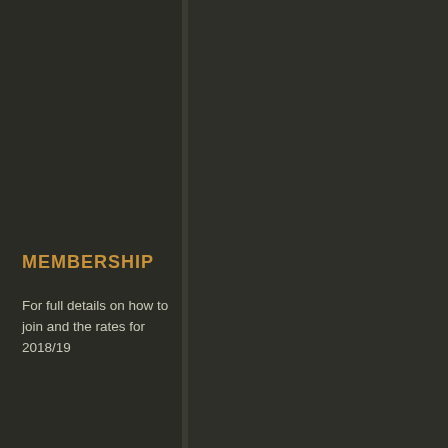MEMBERSHIP
For full details on how to join and the rates for 2018/19